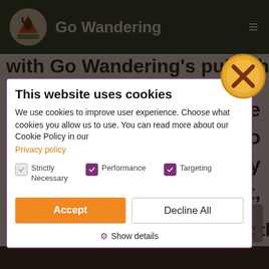Go Wandering
with Go Wandering's published
[Figure (screenshot): Cookie consent modal dialog on Go Wandering website. Contains title 'This website uses cookies', body text explaining cookie usage, a Privacy policy link, checkboxes for Strictly Necessary, Performance, and Targeting, Accept and Decline All buttons, and a Show details option. A close (X) button appears at top right of the overlay.]
advocates harassment of another